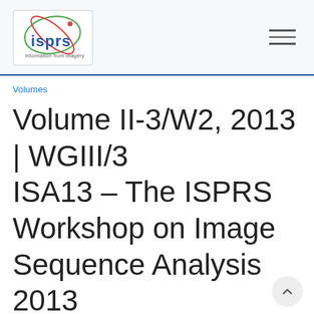[Figure (logo): ISPRS logo with text 'information from imagery']
Volumes
Volume II-3/W2, 2013 | WGIII/3 ISA13 – The ISPRS Workshop on Image Sequence Analysis 2013 (Volume II-3/W2)